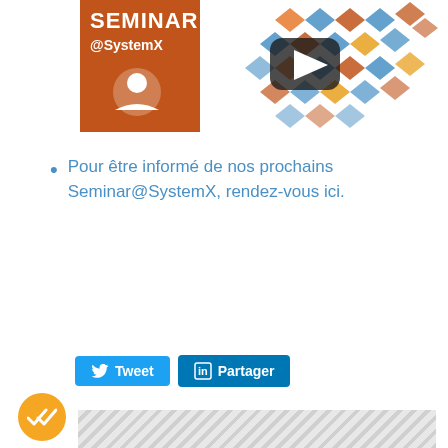[Figure (screenshot): YouTube-style video thumbnail showing 'SEMINAR @SystemX' branding with colorful diamond pattern and play button overlay]
Pour être informé de nos prochains Seminar@SystemX, rendez-vous ici.
[Figure (infographic): Twitter Tweet button and LinkedIn Partager (Share) button]
[Figure (other): Yellow circular badge with double-check mark icon]
[Figure (other): Striped diagonal pattern box at bottom of page]